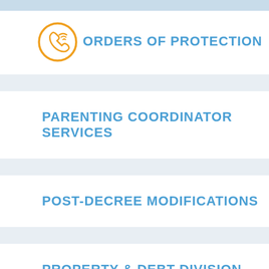ORDERS OF PROTECTION
PARENTING COORDINATOR SERVICES
POST-DECREE MODIFICATIONS
PROPERTY & DEBT DIVISION